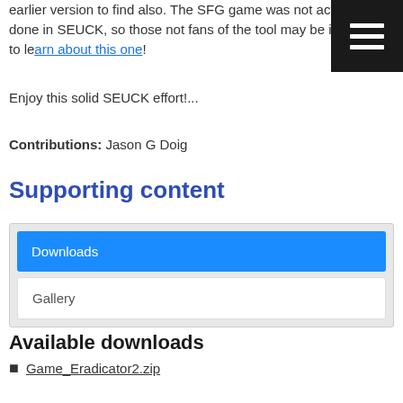earlier version to find also. The SFG game was not actually done in SEUCK, so those not fans of the tool may be interested to learn about this one!
Enjoy this solid SEUCK effort!...
Contributions: Jason G Doig
Supporting content
Downloads
Gallery
Available downloads
Game_Eradicator2.zip